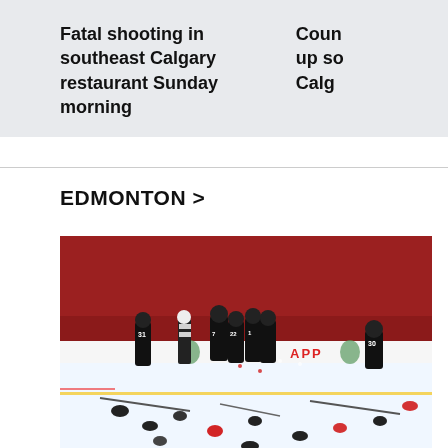Fatal shooting in southeast Calgary restaurant Sunday morning
Coun up so Calg
EDMONTON >
[Figure (photo): Hockey celebration scene on ice rink with players in black Canada jerseys celebrating, helmets thrown on ice, crowd of fans in red cheering in background. Player numbers visible include 31, 7, 22, 1, 30. A referee in black and white stripes stands on ice. Boards show APP signage and maple leaf logos.]